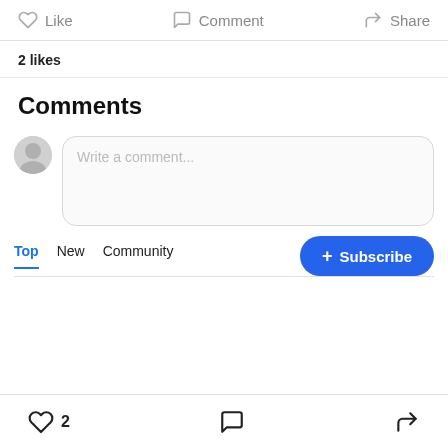Like  Comment  Share
2 likes
Comments
Write a comment...
Top  New  Community
+ Subscribe
2